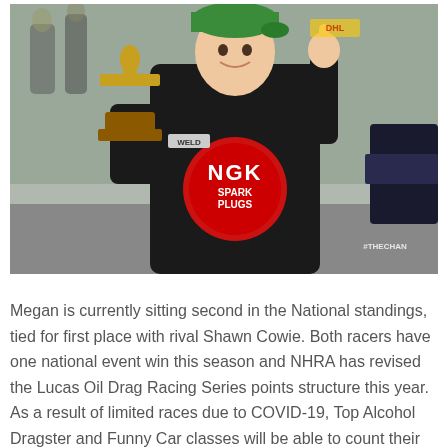[Figure (photo): A female racing driver wearing a black NGK Spark Plugs racing suit and green cap, smiling and holding a gold trophy while pointing one finger up. She is standing in a pit lane area. The NGK and WELD logos are visible on her suit.]
Megan is currently sitting second in the National standings, tied for first place with rival Shawn Cowie. Both racers have one national event win this season and NHRA has revised the Lucas Oil Drag Racing Series points structure this year. As a result of limited races due to COVID-19, Top Alcohol Dragster and Funny Car classes will be able to count their